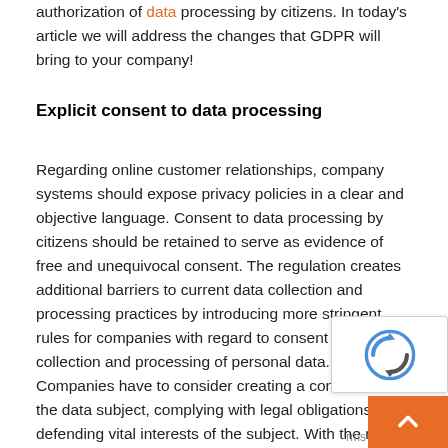authorization of data processing by citizens. In today's article we will address the changes that GDPR will bring to your company!
Explicit consent to data processing
Regarding online customer relationships, company systems should expose privacy policies in a clear and objective language. Consent to data processing by citizens should be retained to serve as evidence of free and unequivocal consent. The regulation creates additional barriers to current data collection and processing practices by introducing more stringent rules for companies with regard to consent for the collection and processing of personal data. Companies have to consider creating a contract with the data subject, complying with legal obligations and defending vital interests of the subject. With the new regulation, a contact of a b card, for example, cannot be included in any data